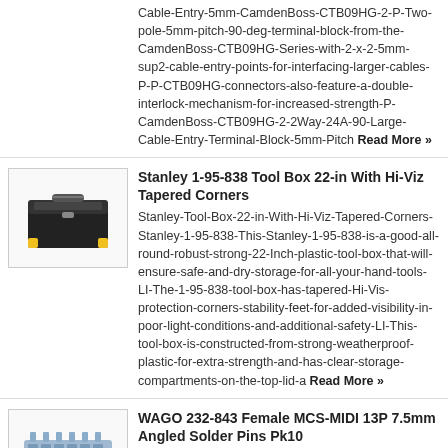Cable-Entry-5mm-CamdenBoss-CTB09HG-2-P-Two-pole-5mm-pitch-90-deg-terminal-block-from-the-CamdenBoss-CTB09HG-Series-with-2-x-2-5mm-sup2-cable-entry-points-for-interfacing-larger-cables-P-P-CTB09HG-connectors-also-feature-a-double-interlock-mechanism-for-increased-strength-P-CamdenBoss-CTB09HG-2-2Way-24A-90-Large-Cable-Entry-Terminal-Block-5mm-Pitch Read More »
[Figure (photo): Stanley 1-95-838 Tool Box product image]
Stanley 1-95-838 Tool Box 22-in With Hi-Viz Tapered Corners
Stanley-Tool-Box-22-in-With-Hi-Viz-Tapered-Corners-Stanley-1-95-838-This-Stanley-1-95-838-is-a-good-all-round-robust-strong-22-Inch-plastic-tool-box-that-will-ensure-safe-and-dry-storage-for-all-your-hand-tools-LI-The-1-95-838-tool-box-has-tapered-Hi-Vis-protection-corners-stability-feet-for-added-visibility-in-poor-light-conditions-and-additional-safety-LI-This-tool-box-is-constructed-from-strong-weatherproof-plastic-for-extra-strength-and-has-clear-storage-compartments-on-the-top-lid-a Read More »
[Figure (photo): WAGO 232-843 Female MCS-MIDI 13P product image]
WAGO 232-843 Female MCS-MIDI 13P 7.5mm Angled Solder Pins Pk10
Wago Female MCS-MIDI 7.5mm with Angled Solder Pins –